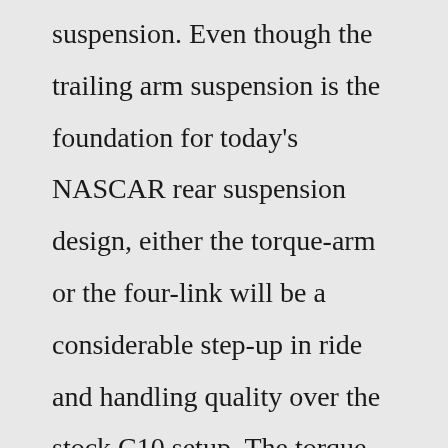suspension. Even though the trailing arm suspension is the foundation for today's NASCAR rear suspension design, either the torque-arm or the four-link will be a considerable step-up in ride and handling quality over the stock C10 setup. The torque-arm offers three height adjustments, and ... Jul 27, 2022 · 1966 Chevrolet C10 Truck Patina lowered original pickup. Posted: 11 Days Ago. Sacramento, CA. Offered At $19,500. 1972 Chevrolet C-10